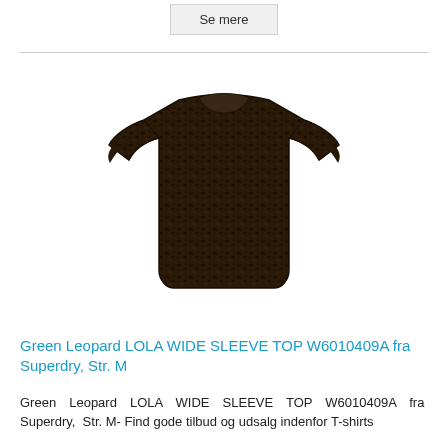Se mere
[Figure (photo): Dark brown/black leopard print wide sleeve crop top (Superdry LOLA WIDE SLEEVE TOP) on white background]
Green Leopard LOLA WIDE SLEEVE TOP W6010409A fra Superdry, Str. M
Green Leopard LOLA WIDE SLEEVE TOP W6010409A fra Superdry, Str. M- Find gode tilbud og udsalg indenfor T-shirts